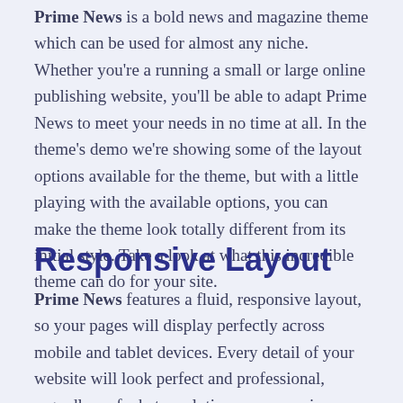Prime News is a bold news and magazine theme which can be used for almost any niche. Whether you're a running a small or large online publishing website, you'll be able to adapt Prime News to meet your needs in no time at all. In the theme's demo we're showing some of the layout options available for the theme, but with a little playing with the available options, you can make the theme look totally different from its initial style. Take a look at what this incredible theme can do for your site.
Responsive Layout
Prime News features a fluid, responsive layout, so your pages will display perfectly across mobile and tablet devices. Every detail of your website will look perfect and professional, regardless of what resolution or screen size visitors use.